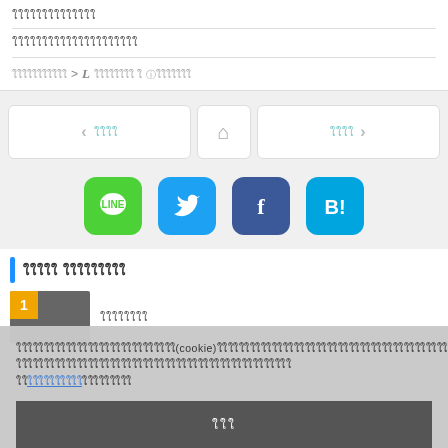ใใใใใใใใใใใใใใ
ใใใใใใใใใใใใใใใใใใใใใ
ใใใใใใใใใใใ > L ใใใใใใใใ ใ ใใใใใใใ
[Figure (screenshot): Navigation buttons: previous, home, next with social share icons (LINE, Twitter, Facebook, Hatena Bookmark)]
ใใใใใ ใใใใใใใใใ
[Figure (photo): Ranked item thumbnail with rank badge #1 and related article text]
ใใใใใใใใใใใใใใใใใใใใใใใใใใใใใ(cookie)ใใใใใใใใใใใใใใใใใใใใใใใใใใใใใใใใใใใใใใใใใใใใใใใใใใใใใใใใใใใใใใใใใใใใใใใใใใใใใใใใใใใใใใใใใใใใใใใใใใใใ
ใใใใใใใใใใใใใใใใใใใใใใ